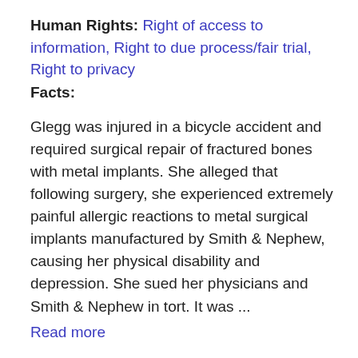Human Rights: Right of access to information, Right to due process/fair trial, Right to privacy
Facts:
Glegg was injured in a bicycle accident and required surgical repair of fractured bones with metal implants. She alleged that following surgery, she experienced extremely painful allergic reactions to metal surgical implants manufactured by Smith & Nephew, causing her physical disability and depression. She sued her physicians and Smith & Nephew in tort. It was ...
Read more
Tags: Compensation, Confidentiality, Damages, Depression, Differently abled, Disabled, Disclosure, Duty of care, Handicapped, Health